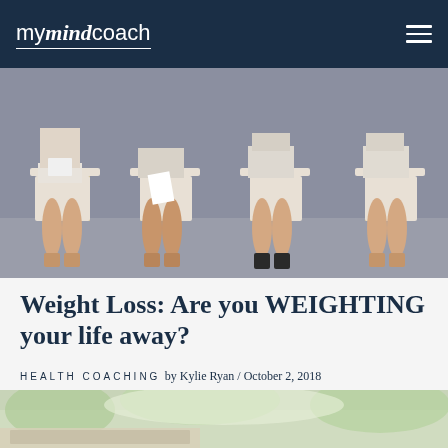mymindcoach
[Figure (photo): Four women sitting in chairs in a waiting room, wearing similar light-colored dresses, cropped at waist level, viewed from the side showing their legs]
Weight Loss: Are you WEIGHTING your life away?
HEALTH COACHING
by Kylie Ryan / October 2, 2018
[Figure (photo): Partial view of a bright outdoor scene with greenery, light background, possibly a laptop or table visible]